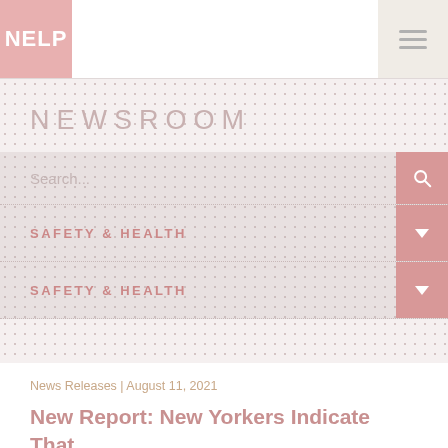NELP
NEWSROOM
Search...
SAFETY & HEALTH
SAFETY & HEALTH
News Releases | August 11, 2021
New Report: New Yorkers Indicate That